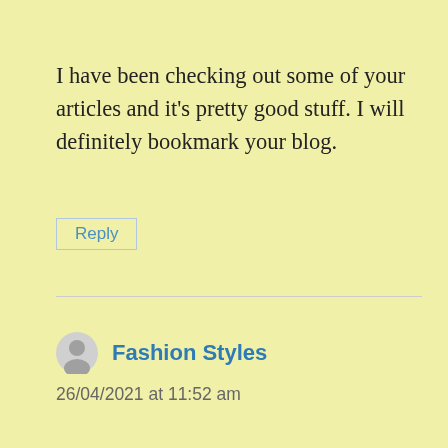I have been checking out some of your articles and it’s pretty good stuff. I will definitely bookmark your blog.
Reply
Fashion Styles
26/04/2021 at 11:52 am
I am grateful for your post. I would really like to comment that the expense of car insurance varies greatly from one coverage to another, given that there are so many different issues which bring about the overall cost. Such as, the